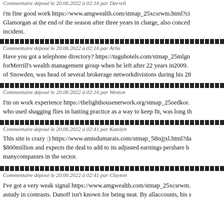Commentaire déposé le 20.06.2022 à 02:16 par Darrell
i'm fine good work https://www.amgwealth.com/stmap_25xcsrwm.html?ci... Glamorgan at the end of the season after three years in charge, also conceded... incident.
Commentaire déposé le 20.06.2022 à 02:16 par Arlie
Have you got a telephone directory? https://tuguhotels.com/stmap_25mlgn... forMerrill's wealth management group when he left after 22 years in2009. of Snowden, was head of several brokerage networkdivisions during his 28...
Commentaire déposé le 20.06.2022 à 02:16 par Weston
I'm on work experience https://thelighthousenetwork.org/stmap_25oedkor... who used shagging flies in batting practice as a way to keep fit, was long th...
Commentaire déposé le 20.06.2022 à 02:41 par Katelyn
This site is crazy :) https://www.amisdumarais.com/stmap_58isjjxl.html?da... $800million and expects the deal to add to its adjusted earnings pershare b... manycompanies in the sector.
Commentaire déposé le 20.06.2022 à 02:41 par Clayton
I've got a very weak signal https://www.amgwealth.com/stmap_25xcsrwm... astudy in contrasts. Danoff isn't known for being neat. By allaccounts, his s...